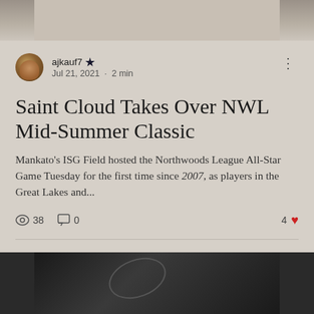[Figure (photo): Top banner photo showing people seated at tables indoors, likely a sports event or cafeteria setting]
ajkauf7 · Jul 21, 2021 · 2 min
Saint Cloud Takes Over NWL Mid-Summer Classic
Mankato's ISG Field hosted the Northwoods League All-Star Game Tuesday for the first time since 2007, as players in the Great Lakes and...
38  0  4
[Figure (photo): Bottom partial photo showing a dark nighttime or indoor sports scene with an arc or curve shape visible]